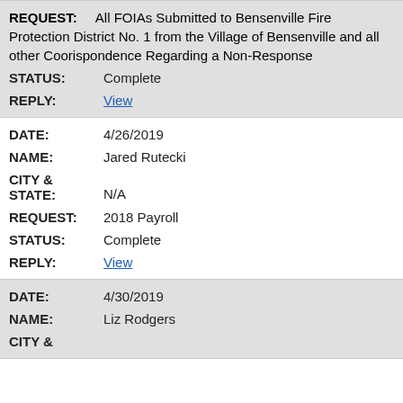| REQUEST: | All FOIAs Submitted to Bensenville Fire Protection District No. 1 from the Village of Bensenville and all other Coorispondence Regarding a Non-Response |
| STATUS: | Complete |
| REPLY: | View |
| DATE: | 4/26/2019 |
| NAME: | Jared Rutecki |
| CITY & STATE: | N/A |
| REQUEST: | 2018 Payroll |
| STATUS: | Complete |
| REPLY: | View |
| DATE: | 4/30/2019 |
| NAME: | Liz Rodgers |
| CITY & |  |